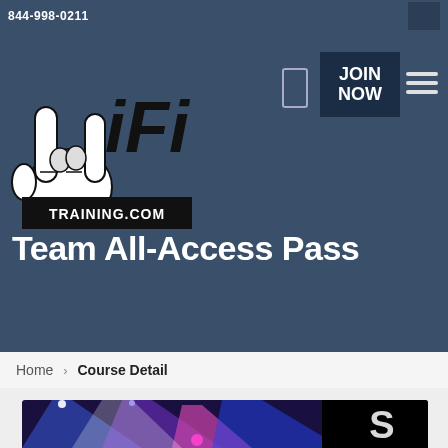844-998-0211
[Figure (logo): WiFi Training.com logo with hand gesture (rock on sign) and stylized 'iFi' text]
JOIN NOW
Team All-Access Pass
Home > Course Detail
[Figure (photo): Stage with colorful spotlights (blue, purple, magenta/pink) and a partial logo overlay on the right]